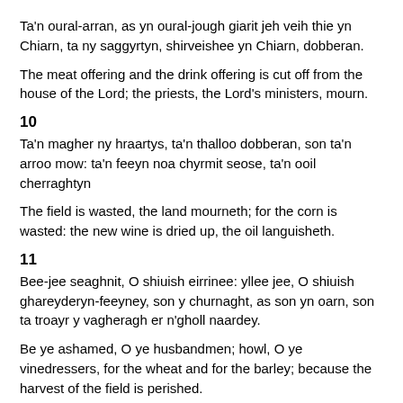Ta'n oural-arran, as yn oural-jough giarit jeh veih thie yn Chiarn, ta ny saggyrtyn, shirveishee yn Chiarn, dobberan.
The meat offering and the drink offering is cut off from the house of the Lord; the priests, the Lord's ministers, mourn.
10
Ta'n magher ny hraartys, ta'n thalloo dobberan, son ta'n arroo mow: ta'n feeyn noa chyrmit seose, ta'n ooil cherraghtyn
The field is wasted, the land mourneth; for the corn is wasted: the new wine is dried up, the oil languisheth.
11
Bee-jee seaghnit, O shiuish eirrinee: yllee jee, O shiuish ghareyderyn-feeyney, son y churnaght, as son yn oarn, son ta troayr y vagheragh er n'gholl naardey.
Be ye ashamed, O ye husbandmen; howl, O ye vinedressers, for the wheat and for the barley; because the harvest of the field is perished.
12
Ta'n billey-feeyney fiojit, as ta'n billey-figgagh creenagh, yn billey-pomegranate, yn billey-palm myrgeddin, as yn billey-oovl, eer ooilley